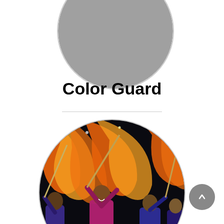[Figure (photo): Partially visible circular cropped gray photo at the top of the page]
Color Guard
[Figure (photo): Circular cropped photo of color guard performers waving large orange and yellow flags at night, wearing purple, magenta and black uniforms]